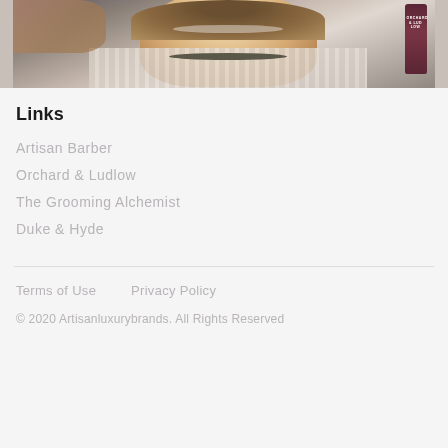[Figure (photo): A person smiling in a barber/salon chair wearing a striped cape, with someone working on their hair and a dark bottle of Orchard & Ludlow product visible on the right.]
Links
Artisan Barber
Orchard & Ludlow
The Grooming Alchemist
Duke & Hyde
Terms of Use    Privacy Policy
© 2020 Artisanluxurybrands. All Rights Reserved